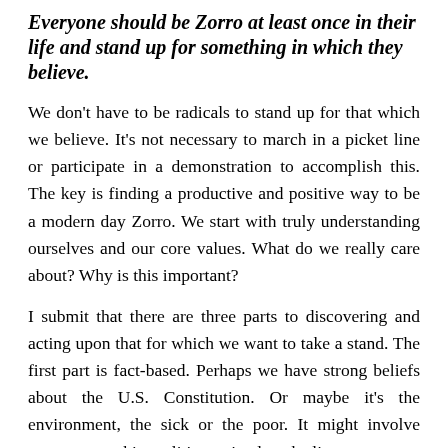Everyone should be Zorro at least once in their life and stand up for something in which they believe.
We don't have to be radicals to stand up for that which we believe. It's not necessary to march in a picket line or participate in a demonstration to accomplish this. The key is finding a productive and positive way to be a modern day Zorro. We start with truly understanding ourselves and our core values. What do we really care about? Why is this important?
I submit that there are three parts to discovering and acting upon that for which we want to take a stand. The first part is fact-based. Perhaps we have strong beliefs about the U.S. Constitution. Or maybe it's the environment, the sick or the poor. It might involve entrepreneurship, politics, animals – the list goes on.